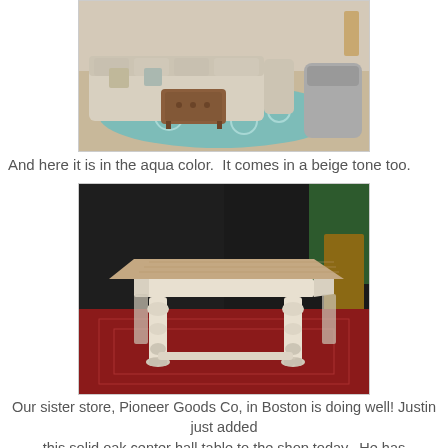[Figure (photo): Photo of a living room showroom with a large light-colored sectional sofa, brown leather tufted ottoman coffee table, and an aqua/teal patterned area rug. A grey armchair is visible on the right.]
And here it is in the aqua color.  It comes in a beige tone too.
[Figure (photo): Photo of a solid oak center hall table with ornate carved legs and claw feet, natural wood top, painted cream/off-white base, displayed on a red patterned area rug in a store.]
Our sister store, Pioneer Goods Co, in Boston is doing well! Justin just added this solid oak center hall table to the shop today.  He has been selling lots of furniture